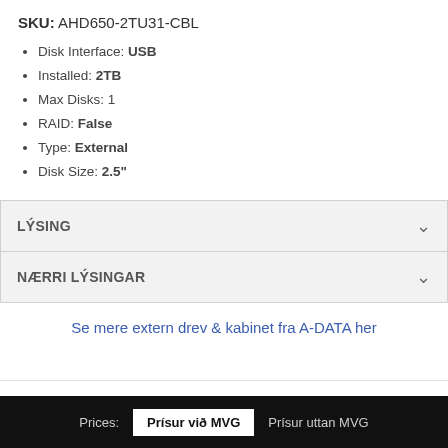SKU: AHD650-2TU31-CBL
Disk Interface: USB
Installed: 2TB
Max Disks: 1
RAID: False
Type: External
Disk Size: 2.5"
LÝSING
NÆRRI LÝSINGAR
Se mere extern drev & kabinet fra A-DATA her
Vørubólkar   Framleiðarar
Prices:  Prísur við MVG  Prísur uttan MVG